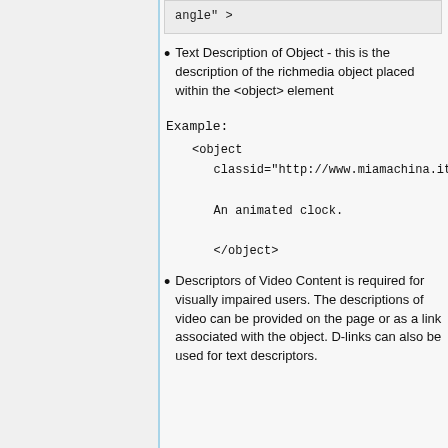[Figure (screenshot): Code snippet showing: angle" >]
Text Description of Object - this is the description of the richmedia object placed within the <object> element
Example:
<object
    classid="http://www.miamachina.it/an

    An animated clock.

    </object>
Descriptors of Video Content is required for visually impaired users. The descriptions of video can be provided on the page or as a link associated with the object. D-links can also be used for text descriptors.